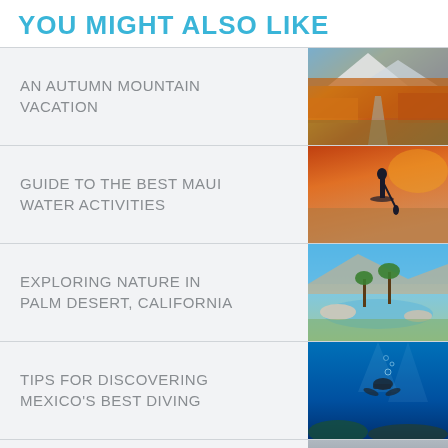YOU MIGHT ALSO LIKE
AN AUTUMN MOUNTAIN VACATION
GUIDE TO THE BEST MAUI WATER ACTIVITIES
EXPLORING NATURE IN PALM DESERT, CALIFORNIA
TIPS FOR DISCOVERING MEXICO'S BEST DIVING